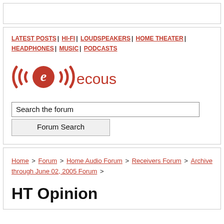LATEST POSTS | HI-FI | LOUDSPEAKERS | HOME THEATER | HEADPHONES | MUSIC | PODCASTS
[Figure (logo): ecoustics logo with red circular wave icon and text 'ecoustics']
Search the forum
Forum Search
Home > Forum > Home Audio Forum > Receivers Forum > Archive through June 02, 2005 Forum >
HT Opinion